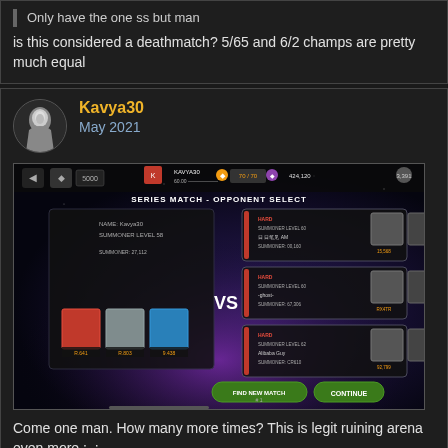Only have the one ss but man is this considered a deathmatch? 5/65 and 6/2 champs are pretty much equal
Kavya30
May 2021
[Figure (screenshot): Mobile game screenshot showing SERIES MATCH - OPPONENT SELECT screen with player Kavya30 SUMMONER LEVEL 58 vs three opponents at SUMMONER LEVEL 60 and 62]
Come one man. How many more times? This is legit ruining arena even more ;_;